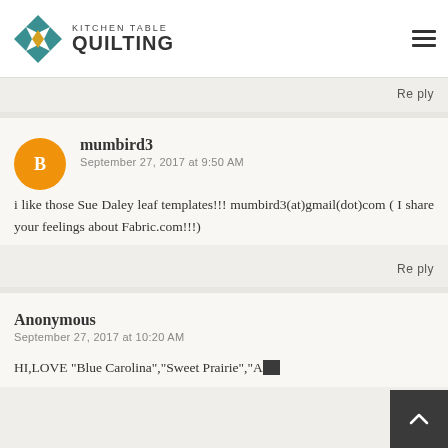Kitchen Table Quilting
the new venture + and just for the record, I'm in LOVE with Tilda!! Hope to see some in the (...)sCo shop soon :)
Reply
mumbird3
September 27, 2017 at 9:50 AM
i like those Sue Daley leaf templates!!! mumbird3(at)gmail(dot)com ( I share your feelings about Fabric.com!!!)
Reply
Anonymous
September 27, 2017 at 10:20 AM
HI,LOVE "Blue Carolina","Sweet Prairie","AGF...